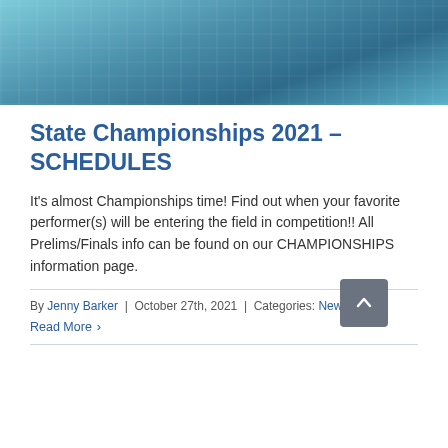[Figure (photo): Hero image of a building/stadium with blue tinted overlay, likely a marching band or sports venue]
State Championships 2021 – SCHEDULES
It's almost Championships time! Find out when your favorite performer(s) will be entering the field in competition!! All Prelims/Finals info can be found on our CHAMPIONSHIPS information page.
By Jenny Barker | October 27th, 2021 | Categories: News
Read More >